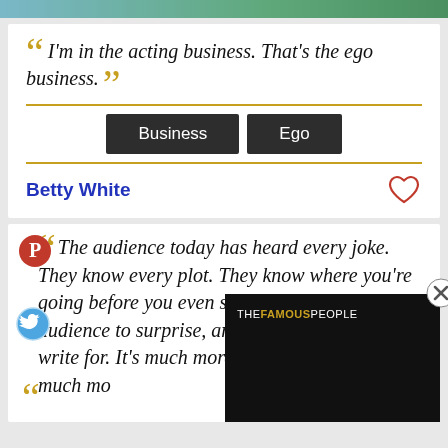[Figure (photo): Partial top image strip showing foliage/nature background]
I'm in the acting business. That's the ego business.
Business  Ego
Betty White
The audience today has heard every joke. They know every plot. They know where you're going before you even start. That's a tough audience to surprise, and a tough audience to write for. It's much more co... the audience is so much mo...